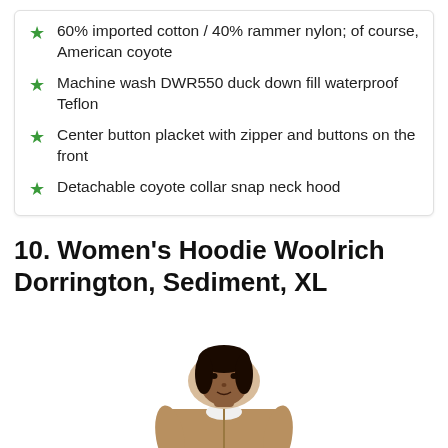60% imported cotton / 40% rammer nylon; of course, American coyote
Machine wash DWR550 duck down fill waterproof Teflon
Center button placket with zipper and buttons on the front
Detachable coyote collar snap neck hood
10. Women's Hoodie Woolrich Dorrington, Sediment, XL
[Figure (photo): Woman wearing a tan/khaki hoodie jacket, shown from the waist up, with hood visible behind her head. She is a dark-skinned woman with dark hair, wearing a white top underneath.]